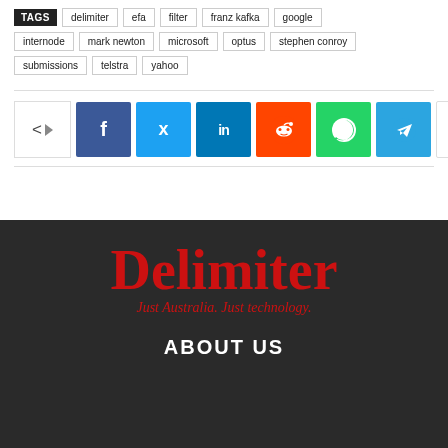TAGS  delimiter  efa  filter  franz kafka  google  internode  mark newton  microsoft  optus  stephen conroy  submissions  telstra  yahoo
[Figure (screenshot): Social share bar with icons: share arrow, Facebook (f), Twitter bird, LinkedIn (in), Reddit alien, WhatsApp, Telegram, and a plus/more button]
[Figure (logo): Delimiter logo on dark background with text 'Delimiter' in large red serif font and tagline 'Just Australia. Just technology.' in smaller red italic serif font]
ABOUT US